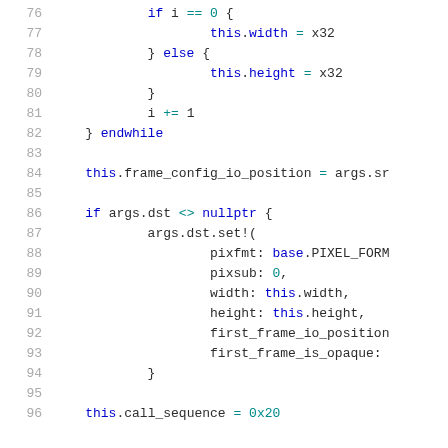[Figure (screenshot): Source code listing lines 76-96 showing a while loop body with if/else branches setting this.width and this.height, followed by frame config and args.dst block]